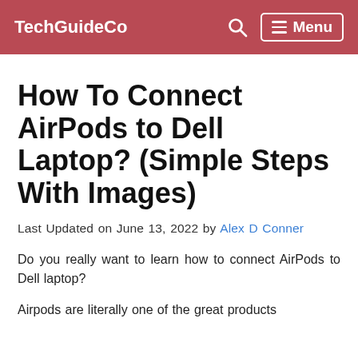TechGuideCo  Menu
How To Connect AirPods to Dell Laptop? (Simple Steps With Images)
Last Updated on June 13, 2022 by Alex D Conner
Do you really want to learn how to connect AirPods to Dell laptop?
Airpods are literally one of the great products